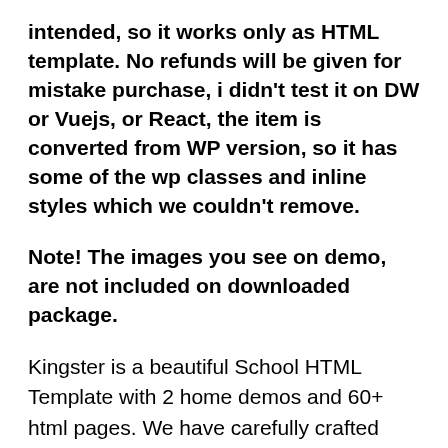intended, so it works only as HTML template. No refunds will be given for mistake purchase, i didn't test it on DW or Vuejs, or React, the item is converted from WP version, so it has some of the wp classes and inline styles which we couldn't remove.
Note! The images you see on demo, are not included on downloaded package.
Kingster is a beautiful School HTML Template with 2 home demos and 60+ html pages. We have carefully crafted each & every demo to ensure that a clean and modern design is carried through. Great design and Powerful features makes Infinite is irresistible. What you see below are full fledged